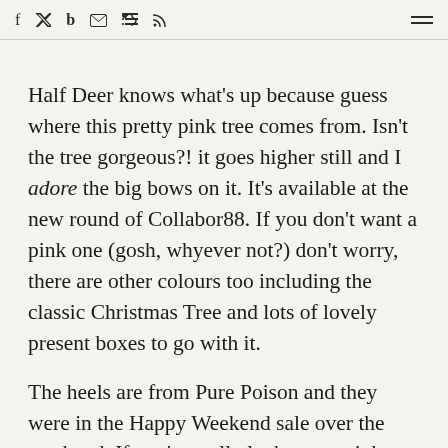f  [twitter]  b  [email]  [rss]  [menu]
Half Deer knows what's up because guess where this pretty pink tree comes from. Isn't the tree gorgeous?! it goes higher still and I adore the big bows on it. It's available at the new round of Collabor88. If you don't want a pink one (gosh, whyever not?) don't worry, there are other colours too including the classic Christmas Tree and lots of lovely present boxes to go with it.
The heels are from Pure Poison and they were in the Happy Weekend sale over the weekend. If you're really lucky you might find them still at the weekend sale price. However this far into the week the chances do dwindle. Don't they look so good though?! The top is